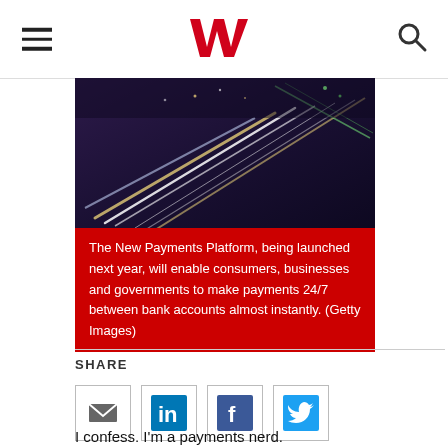Westpac logo, hamburger menu, search icon
[Figure (photo): City street at night with motion blur light trails from vehicles, purple and white tones]
The New Payments Platform, being launched next year, will enable consumers, businesses and governments to make payments 24/7 between bank accounts almost instantly. (Getty Images)
SHARE
[Figure (infographic): Social share icons: Email (envelope), LinkedIn, Facebook, Twitter]
I confess. I'm a payments nerd.